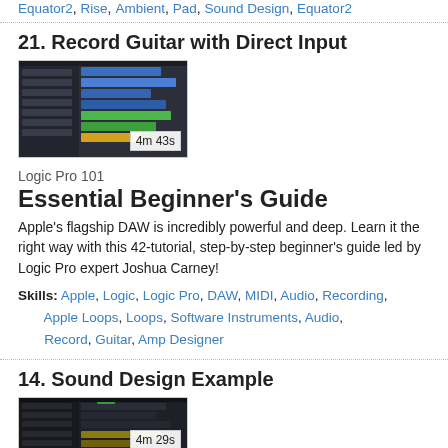Equator2, Rise, Ambient, Pad, Sound Design, Equator2
21. Record Guitar with Direct Input
[Figure (screenshot): Screenshot of Logic Pro DAW showing a session with colored tracks (blue, green, yellow), duration badge showing 4m 43s]
Logic Pro 101
Essential Beginner's Guide
Apple's flagship DAW is incredibly powerful and deep. Learn it the right way with this 42-tutorial, step-by-step beginner's guide led by Logic Pro expert Joshua Carney!
Skills: Apple, Logic, Logic Pro, DAW, MIDI, Audio, Recording, Apple Loops, Loops, Software Instruments, Audio, Record, Guitar, Amp Designer
14. Sound Design Example
[Figure (screenshot): Screenshot of Logic Pro DAW showing a sound design session with dark tracks and yellow/green elements, duration badge showing 4m 29s]